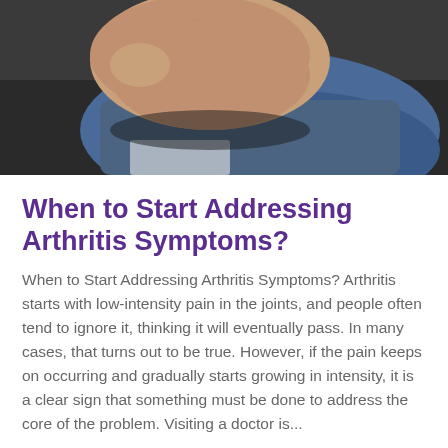[Figure (photo): Close-up photo of a person's hand making a fist, wearing a blue denim shirt, against a dark background]
When to Start Addressing Arthritis Symptoms?
When to Start Addressing Arthritis Symptoms? Arthritis starts with low-intensity pain in the joints, and people often tend to ignore it, thinking it will eventually pass. In many cases, that turns out to be true. However, if the pain keeps on occurring and gradually starts growing in intensity, it is a clear sign that something must be done to address the core of the problem. Visiting a doctor is...